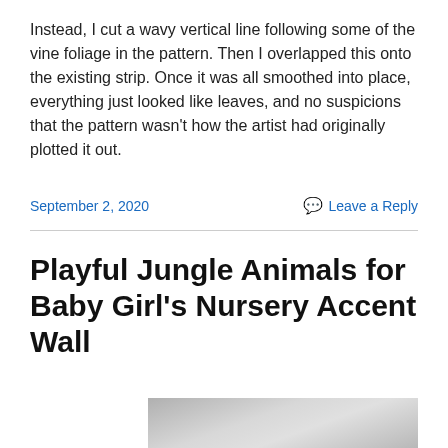Instead, I cut a wavy vertical line following some of the vine foliage in the pattern. Then I overlapped this onto the existing strip. Once it was all smoothed into place, everything just looked like leaves, and no suspicions that the pattern wasn't how the artist had originally plotted it out.
September 2, 2020
Leave a Reply
Playful Jungle Animals for Baby Girl's Nursery Accent Wall
[Figure (photo): Partial photo of a nursery accent wall, grey/neutral tones visible at the bottom of the page.]